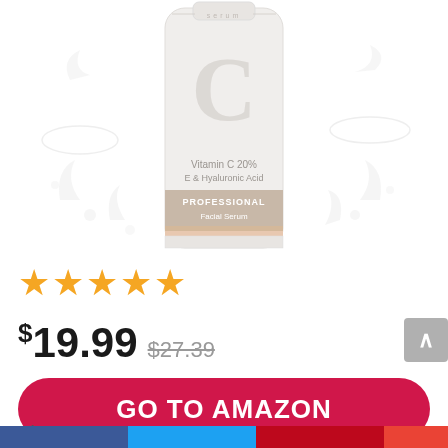[Figure (photo): Vitamin C 20% E & Hyaluronic Acid PROFESSIONAL Facial Serum bottle product photo with water splash background]
★★★★★
$19.99  $27.39
GO TO AMAZON
Amazon.com
[Figure (other): Social media share bar at bottom: Facebook, Twitter, Pinterest, Google+]